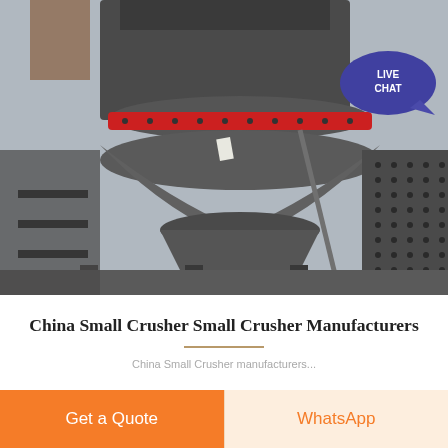[Figure (photo): Industrial cone crusher machine in grey and red, photographed at a manufacturing facility or job site. The machine shows a large cone crusher bowl with red accent ring, perforated steel panel on the right side, and steel frame structure.]
China Small Crusher Small Crusher Manufacturers
China Small Crusher manufacturers...
Get a Quote
WhatsApp